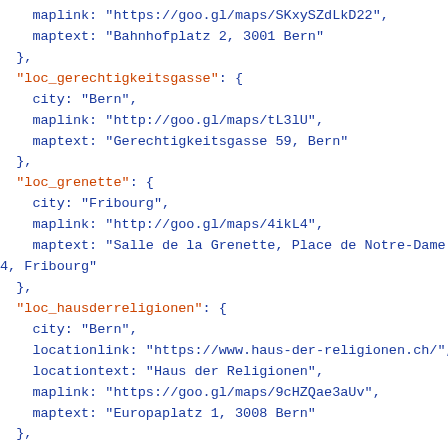maplink: "https://goo.gl/maps/SKxySZdLkD22",
    maptext: "Bahnhofplatz 2, 3001 Bern"
  },
  "loc_gerechtigkeitsgasse": {
    city: "Bern",
    maplink: "http://goo.gl/maps/tL3lU",
    maptext: "Gerechtigkeitsgasse 59, Bern"
  },
  "loc_grenette": {
    city: "Fribourg",
    maplink: "http://goo.gl/maps/4ikL4",
    maptext: "Salle de la Grenette, Place de Notre-Dame 4, Fribourg"
  },
  "loc_hausderreligionen": {
    city: "Bern",
    locationlink: "https://www.haus-der-religionen.ch/",
    locationtext: "Haus der Religionen",
    maplink: "https://goo.gl/maps/9cHZQae3aUv",
    maptext: "Europaplatz 1, 3008 Bern"
  },
  "loc_heiliggeistkirche": {
    city: "Bern",
    maplink: "https://goo.gl/maps/kmPPGQaGWmzpX7EC7",
    maptext: "Spitalgasse 44, 3011 Bern"